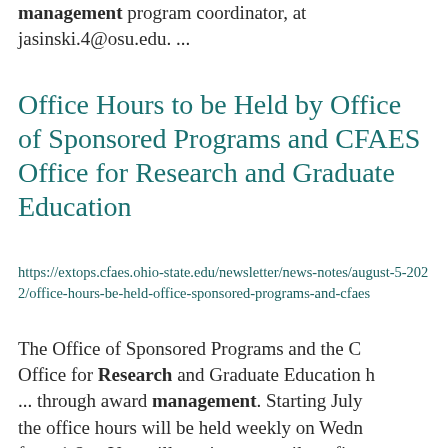management program coordinator, at jasinski.4@osu.edu. ...
Office Hours to be Held by Office of Sponsored Programs and CFAES Office for Research and Graduate Education
https://extops.cfaes.ohio-state.edu/newsletter/news-notes/august-5-2022/office-hours-be-held-office-sponsored-programs-and-cfaes
The Office of Sponsored Programs and the CFAES Office for Research and Graduate Education h... through award management. Starting July the office hours will be held weekly on Wednesday from 1-2 ... You will receive an email confirmation of your registration from the CFAES Office for Research...